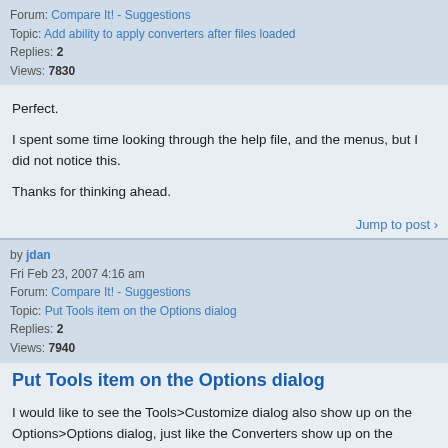Forum: Compare It! - Suggestions
Topic: Add ability to apply converters after files loaded
Replies: 2
Views: 7830
Perfect.

I spent some time looking through the help file, and the menus, but I did not notice this.

Thanks for thinking ahead.
Jump to post ›
by jdan
Fri Feb 23, 2007 4:16 am
Forum: Compare It! - Suggestions
Topic: Put Tools item on the Options dialog
Replies: 2
Views: 7940
Put Tools item on the Options dialog
I would like to see the Tools>Customize dialog also show up on the Options>Options dialog, just like the Converters show up on the Options dialog. In this way, all the options are available from the same dialog. However, it is quite convenient that the Customize menu item is also on the Tools menu, ...
Jump to post ›